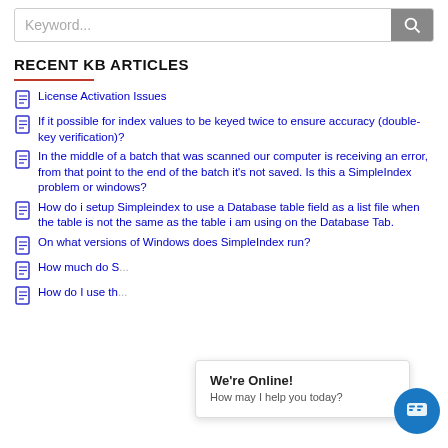Keyword...
RECENT KB ARTICLES
License Activation Issues
If it possible for index values to be keyed twice to ensure accuracy (double-key verification)?
In the middle of a batch that was scanned our computer is receiving an error, from that point to the end of the batch it's not saved. Is this a SimpleIndex problem or windows?
How do i setup Simpleindex to use a Database table field as a list file when the table is not the same as the table i am using on the Database Tab.
On what versions of Windows does SimpleIndex run?
How much do S...?
How do I use th...
We're Online!
How may I help you today?